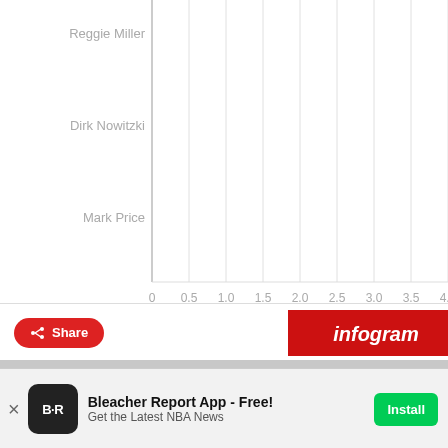[Figure (bar-chart): Horizontal bar chart showing NBA players. Y-axis shows player names: Reggie Miller, Dirk Nowitzki, Mark Price. X-axis runs from 0 to 4.0 in steps of 0.5. Bars are cut off at left edge of visible area.]
[Figure (screenshot): Infogram share toolbar with red Share button and red Infogram badge on right]
[Figure (photo): Nike KD 15 basketball shoe advertisement showing red and black sneaker with colorful geometric grid design]
Bleacher Report App - Free!
Get the Latest NBA News
Install